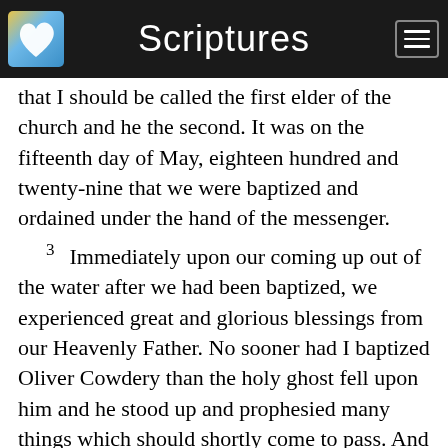Scriptures
that I should be called the first elder of the church and he the second. It was on the fifteenth day of May, eighteen hundred and twenty-nine that we were baptized and ordained under the hand of the messenger.
3  Immediately upon our coming up out of the water after we had been baptized, we experienced great and glorious blessings from our Heavenly Father. No sooner had I baptized Oliver Cowdery than the holy ghost fell upon him and he stood up and prophesied many things which should shortly come to pass. And again, so soon as I had been baptized by him, I also had the spirit of prophecy; when standing up I prophesied concerning the rise of this Church, and many other things connected with the Church and this generation of the